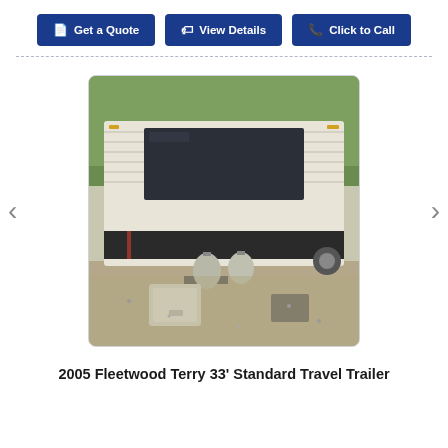Get a Quote | View Details | Click to Call
[Figure (photo): Photograph of a white travel trailer's rear/front end parked outdoors among trees. Two propane tanks are visible at the tongue/hitch area, along with a white battery box. The trailer has a large dark-tinted window on the upper portion and a dark stripe on the lower body.]
2005 Fleetwood Terry 33' Standard Travel Trailer